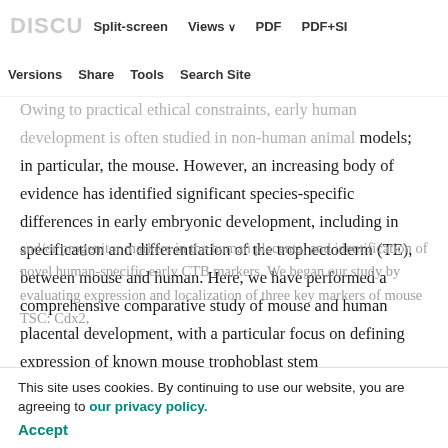DISCU | Split-screen | Views | PDF | PDF+SI
Versions | Share | Tools | Search Site
Owing to practical ethical constraints, early human development is often studied in non-human animal models; in particular, the mouse. However, an increasing body of evidence has identified significant species-specific differences in early embryonic development, including in specification and differentiation of the trophectoderm (TE), between mouse and human. Here, we have performed a comprehensive comparative study of mouse and human placental development, with a particular focus on defining expression of known mouse trophoblast stem and/or progenitor markers in the human placenta, and identification of novel human-specific early CTB markers. We began our study by evaluating expression and localization of three key markers of mouse TSC: Cdx2,
This site uses cookies. By continuing to use our website, you are agreeing to our privacy policy.
Accept